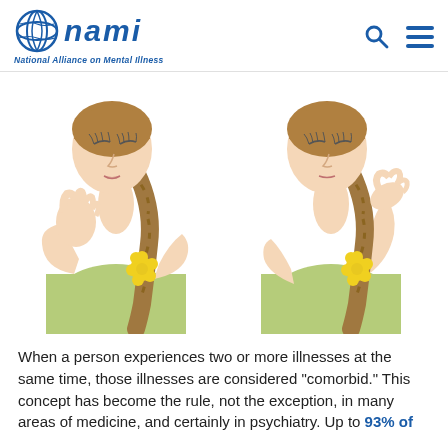NAMI — National Alliance on Mental Illness
[Figure (illustration): Two illustrated women with braided hair and green tops, each touching their face/head in a distressed pose, with yellow flower hair accessories]
When a person experiences two or more illnesses at the same time, those illnesses are considered "comorbid." This concept has become the rule, not the exception, in many areas of medicine, and certainly in psychiatry. Up to 93% of